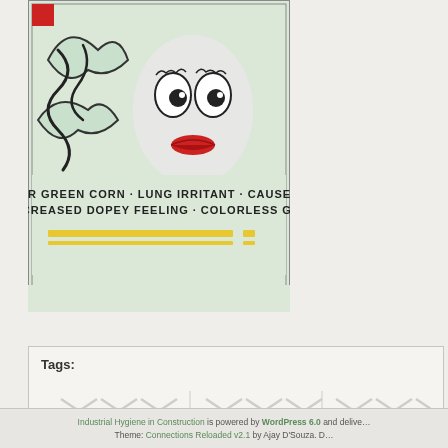[Figure (illustration): Vintage poster-style illustration showing a masked/gas figure with text 'OR GREEN CORN · LUNG IRRITANT · CAUSES INCREASED DOPEY FEELING · COLORLESS GAS' with yellow/gold decorative bar at bottom]
Tags:
Industrial Hygiene in Construction is powered by WordPress 6.0 and delive… Theme: Connections Reloaded v2.1 by Ajay D'Souza. D…